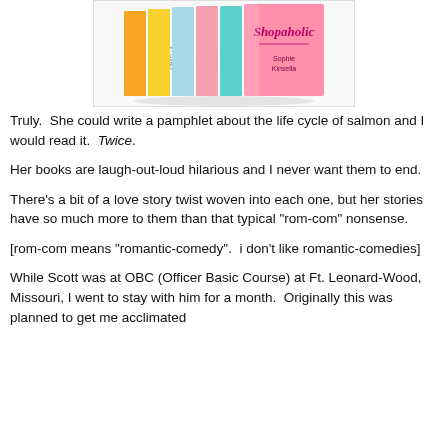[Figure (photo): A collection of Sophie Kinsella Shopaholic book series arranged in a colorful row, showing multiple spines and a 'Shopaholic' titled cover, by author Kinsella.]
Truly.  She could write a pamphlet about the life cycle of salmon and I would read it.  Twice.
Her books are laugh-out-loud hilarious and I never want them to end.
There's a bit of a love story twist woven into each one, but her stories have so much more to them than that typical "rom-com" nonsense.
[rom-com means "romantic-comedy".  i don't like romantic-comedies]
While Scott was at OBC (Officer Basic Course) at Ft. Leonard-Wood, Missouri, I went to stay with him for a month.  Originally this was planned to get me acclimated with...